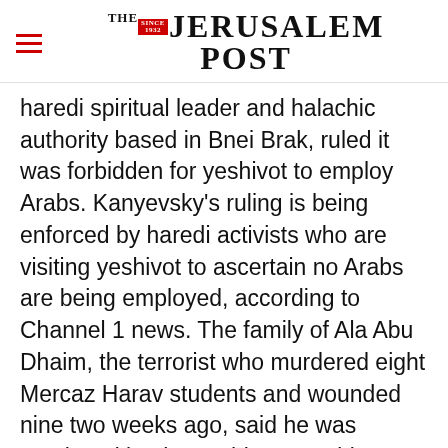THE JERUSALEM POST
haredi spiritual leader and halachic authority based in Bnei Brak, ruled it was forbidden for yeshivot to employ Arabs. Kanyevsky's ruling is being enforced by haredi activists who are visiting yeshivot to ascertain no Arabs are being employed, according to Channel 1 news. The family of Ala Abu Dhaim, the terrorist who murdered eight Mercaz Harav students and wounded nine two weeks ago, said he was employed by the yeshiva as a driver. However
Advertisement